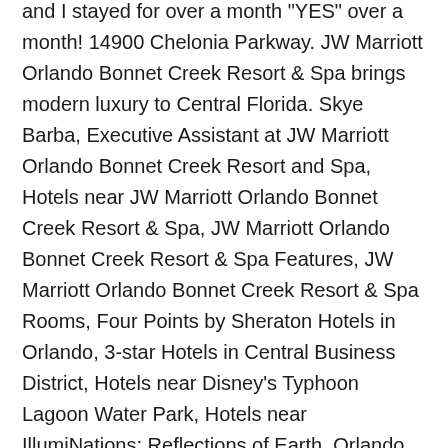and I stayed for over a month "YES" over a month! 14900 Chelonia Parkway. JW Marriott Orlando Bonnet Creek Resort & Spa brings modern luxury to Central Florida. Skye Barba, Executive Assistant at JW Marriott Orlando Bonnet Creek Resort and Spa, Hotels near JW Marriott Orlando Bonnet Creek Resort & Spa, JW Marriott Orlando Bonnet Creek Resort & Spa Features, JW Marriott Orlando Bonnet Creek Resort & Spa Rooms, Four Points by Sheraton Hotels in Orlando, 3-star Hotels in Central Business District, Hotels near Disney's Typhoon Lagoon Water Park, Hotels near IllumiNations: Reflections of Earth, Orlando Sanford International Airport Hotels. You can tell that a lot of thought and effort went into their design. Room was well-designed with a comfy loveseat, decent size desk, several chairs, good lighting, plenty of shelf space and lots of outlets for electronics. Create family memories during your next Orlando vacation, including a nightly resort credit and more! For specific inquiries, we recommend calling ahead to confirm. JW Marriott Orlando Bonnet Creek Resort & Spa. JW Marriott Orlando Bonnet